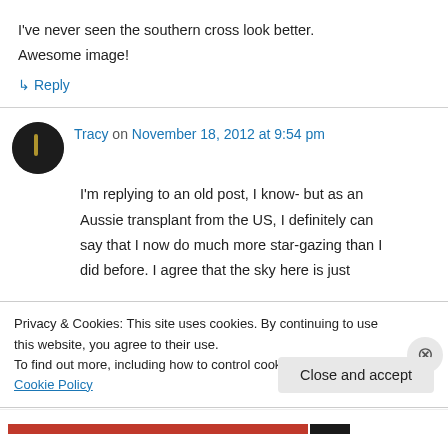I've never seen the southern cross look better. Awesome image!
↳ Reply
Tracy on November 18, 2012 at 9:54 pm
I'm replying to an old post, I know- but as an Aussie transplant from the US, I definitely can say that I now do much more star-gazing than I did before. I agree that the sky here is just
Privacy & Cookies: This site uses cookies. By continuing to use this website, you agree to their use. To find out more, including how to control cookies, see here: Cookie Policy
Close and accept